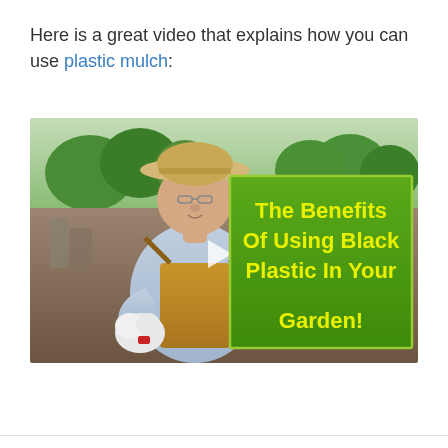Here is a great video that explains how you can use plastic mulch:
[Figure (photo): Video thumbnail showing an older man wearing a wide-brimmed hat and overalls, holding a small white animal, standing outdoors with trees in the background. A green overlay box on the right side reads 'The Benefits Of Using Black Plastic In Your Garden!' in bold yellow text. A play button triangle is visible in the center.]